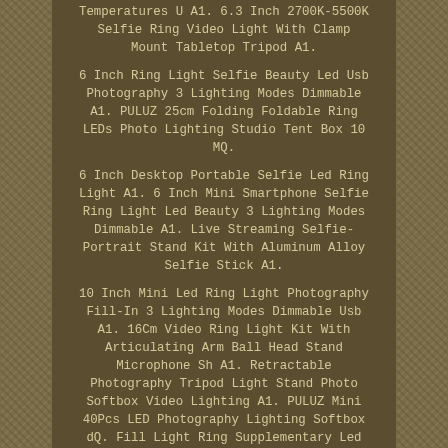Temperatures U A1. 6.3 Inch 2700K-5500K Selfie Ring Video Light With Clamp Mount Tabletop Tripod A1.
6 Inch Ring Light Selfie Beauty Led Usb Photography 3 Lighting Modes Dimmable A1. PULUZ 25cm Folding Foldable Ring LEDs Photo Lighting Studio Tent Box 10 MQ.
6 Inch Desktop Portable Selfie Led Ring Light A1. 6 Inch Mini Smartphone Selfie Ring Light Led Beauty 3 Lighting Modes Dimmable A1. Live Streaming Selfie-Portrait Stand Kit With Aluminum Alloy Selfie Stick A1.
10 Inch Mini Led Ring Light Photography Fill-In 3 Lighting Modes Dimmable Usb A1. 16Cm Video Ring Light Kit With Articulating Arm Ball Head Stand Microphone Sh A1. Retractable Photography Tripod Light Stand Photo Softbox Video Lighting A1. PULUZ Mini 40Pcs LED Photography Lighting Softbox dQ. Fill Light Ring Supplementary Led Folding For Photography Live Strea...